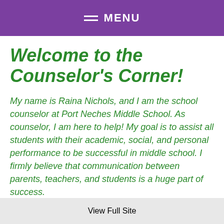MENU
Welcome to the Counselor's Corner!
My name is Raina Nichols, and I am the school counselor at Port Neches Middle School. As counselor, I am here to help! My goal is to assist all students with their academic, social, and personal performance to be successful in middle school. I firmly believe that communication between parents, teachers, and students is a huge part of success.
View Full Site